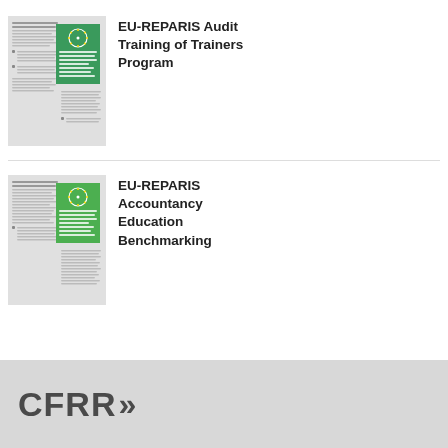[Figure (illustration): Thumbnail of EU-REPARIS Audit Training of Trainers Program document with green cover showing EU logo]
EU-REPARIS Audit Training of Trainers Program
[Figure (illustration): Thumbnail of EU-REPARIS Accountancy Education Benchmarking document with green cover showing EU logo]
EU-REPARIS Accountancy Education Benchmarking
CFRR>>